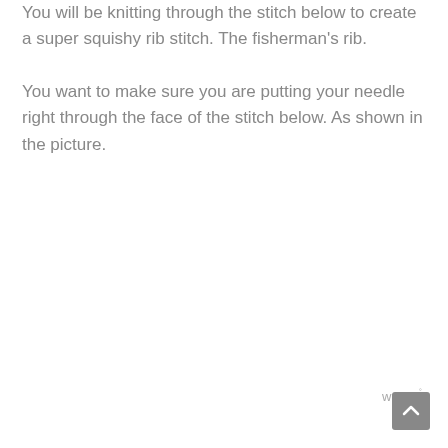You will be knitting through the stitch below to create a super squishy rib stitch. The fisherman's rib. You want to make sure you are putting your needle right through the face of the stitch below. As shown in the picture.
[Figure (logo): Small logo mark with stylized 'W' letters and a degree symbol, in light gray]